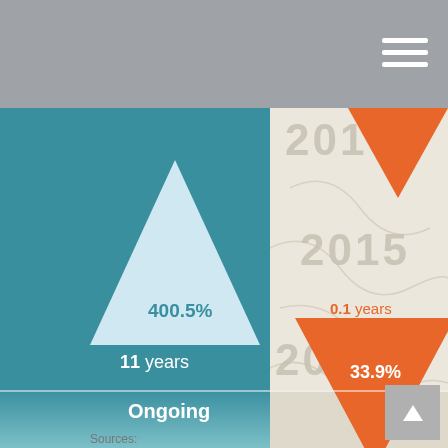[Figure (infographic): App screenshot showing two triangular indicators: an upward white triangle on teal background showing 400.5% over 11 years (Ongoing), and a downward orange triangle showing 33.9% over 0.1 years. Background shows watermark years 2010, 2015, 2020 on a beige map texture.]
400.5%
11 years
Ongoing
0.1 years
33.9%
Sources: